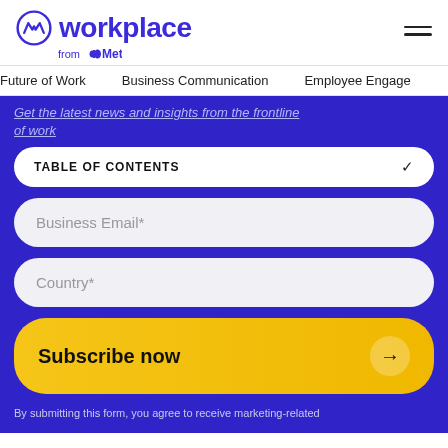[Figure (logo): Workplace from Meta logo with circular W icon in blue/purple]
Future of Work    Business Communication    Employee Engage
Get the latest news and insights from the frontline of work
TABLE OF CONTENTS
Business Email*
Country*
Subscribe now →
By submitting this form, you agree to receive marketing-related